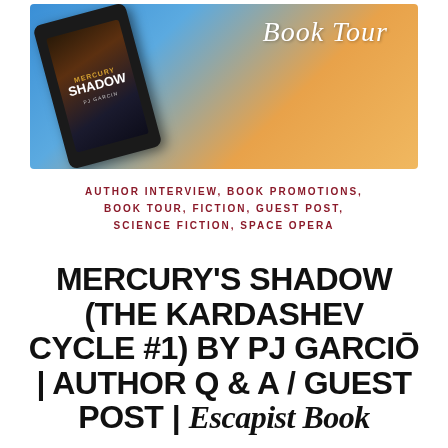[Figure (illustration): Book Tour banner with blue-to-orange gradient background, a tablet device showing the Mercury's Shadow book cover on the left, and 'Book Tour' written in white italic cursive script on the right.]
AUTHOR INTERVIEW, BOOK PROMOTIONS, BOOK TOUR, FICTION, GUEST POST, SCIENCE FICTION, SPACE OPERA
MERCURY'S SHADOW (THE KARDASHEV CYCLE #1) BY PJ GARCIN | AUTHOR Q & A / GUEST POST | Escapist Book